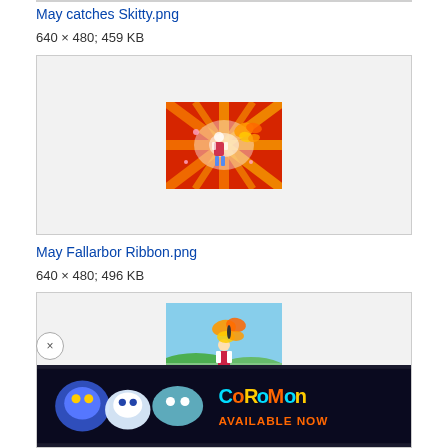May catches Skitty.png
640 × 480; 459 KB
[Figure (illustration): Anime screenshot showing a girl character with a large butterfly Pokémon against a red and yellow starburst background]
May Fallarbor Ribbon.png
640 × 480; 496 KB
[Figure (illustration): Anime screenshot showing a girl character with butterfly and other Pokémon against outdoor background, with Coromon game advertisement banner at bottom]